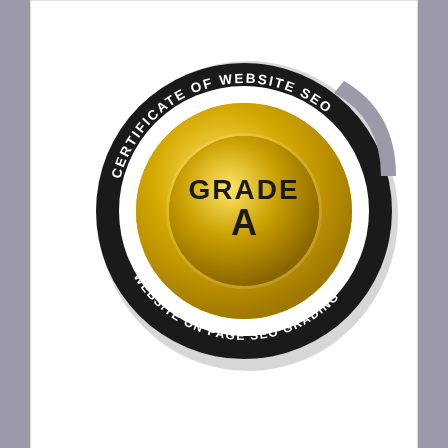[Figure (logo): Certificate of Website SEO badge — a circular dark/gold emblem with text 'CERTIFICATE OF WEBSITE SEO' around the outer ring, 'GRADE A' in the center gold circle, and 'WEBSITE ON PAGE SEO GRADING' along the bottom arc.]
TOP BLOG: BLOGGING FUSION
Blogging Fusion Blog Directory
MAYURA AMARKANT